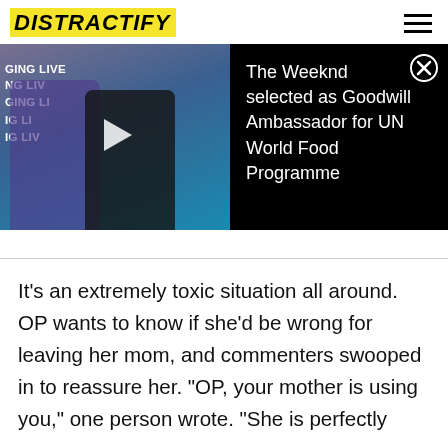DISTRACTIFY
[Figure (screenshot): Video thumbnail showing two people standing together in front of a blue banner. One person wears a purple/blue jacket, the other wears a black coat and holds a document. A play button triangle is overlaid on the thumbnail. Beside it is a black panel with white text: 'The Weeknd selected as Goodwill Ambassador for UN World Food Programme' and an X close button.]
It's an extremely toxic situation all around. OP wants to know if she'd be wrong for leaving her mom, and commenters swooped in to reassure her. "OP, your mother is using you," one person wrote. "She is perfectly